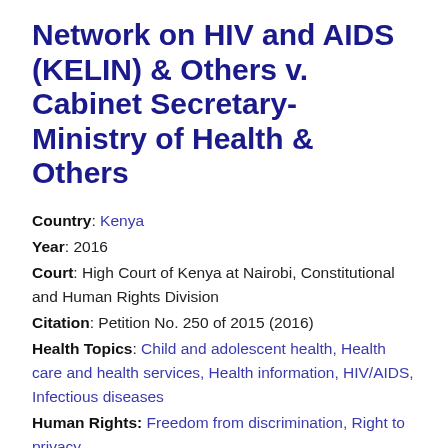Network on HIV and AIDS (KELIN) & Others v. Cabinet Secretary- Ministry of Health & Others
Country: Kenya
Year: 2016
Court: High Court of Kenya at Nairobi, Constitutional and Human Rights Division
Citation: Petition No. 250 of 2015 (2016)
Health Topics: Child and adolescent health, Health care and health services, Health information, HIV/AIDS, Infectious diseases
Human Rights: Freedom from discrimination, Right to privacy
Facts: